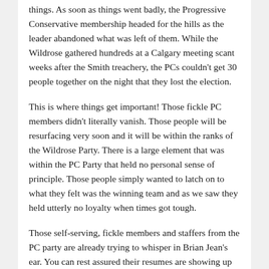things. As soon as things went badly, the Progressive Conservative membership headed for the hills as the leader abandoned what was left of them. While the Wildrose gathered hundreds at a Calgary meeting scant weeks after the Smith treachery, the PCs couldn't get 30 people together on the night that they lost the election.
This is where things get important! Those fickle PC members didn't literally vanish. Those people will be resurfacing very soon and it will be within the ranks of the Wildrose Party. There is a large element that was within the PC Party that held no personal sense of principle. Those people simply wanted to latch on to what they felt was the winning team and as we saw they held utterly no loyalty when times got tough.
Those self-serving, fickle members and staffers from the PC party are already trying to whisper in Brian Jean's ear. You can rest assured their resumes are showing up in Wildrose inboxes already. It is critical that the Wildrose Party members stay on guard and not let these people poison the ranks of the party and lead us to the sort of top